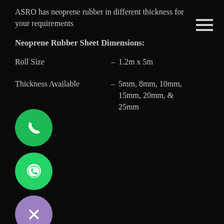ASRO has neoprene rubber in different thickness for your requirements
Neoprene Rubber Sheet Dimensions:
Roll Size – 1.2m x 5m
Thickness Available – 5mm, 8mm, 10mm, 15mm, 20mm, & 25mm
[Figure (illustration): Green phone icon circle button]
[Figure (illustration): Green WhatsApp icon circle button]
[Figure (illustration): Purple close/X icon circle button]